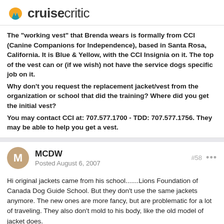cruisecritic
The "working vest" that Brenda wears is formally from CCI (Canine Companions for Independence), based in Santa Rosa, California. It is Blue & Yellow, with the CCI Insignia on it. The top of the vest can or (if we wish) not have the service dogs specific job on it.
Why don't you request the replacement jacket/vest from the organization or school that did the training? Where did you get the initial vest?
You may contact CCI at: 707.577.1700 - TDD: 707.577.1756. They may be able to help you get a vest.
MCDW
Posted August 6, 2007
#58
Hi original jackets came from his school.......Lions Foundation of Canada Dog Guide School. But they don't use the same jackets anymore. The new ones are more fancy, but are problematic for a lot of traveling. They also don't mold to his body, like the old model of jacket does.